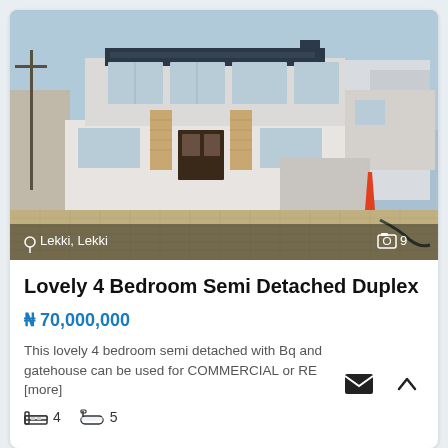[Figure (photo): Exterior photo of a two-storey semi-detached duplex with brick-accented columns, white render, large windows, and a paved brick driveway in front. Location overlay shows Lekki, Lekki and photo count of 9.]
Lovely 4 Bedroom Semi Detached Duplex
₦ 70,000,000
This lovely 4 bedroom semi detached with Bq and gatehouse can be used for COMMERCIAL or RE [more]
4  5